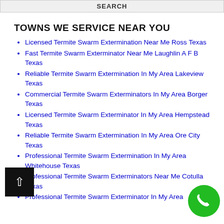SEARCH
TOWNS WE SERVICE NEAR YOU
Licensed Termite Swarm Extermination Near Me Ross Texas
Fast Termite Swarm Exterminator Near Me Laughlin A F B Texas
Reliable Termite Swarm Extermination In My Area Lakeview Texas
Commercial Termite Swarm Exterminators In My Area Borger Texas
Licensed Termite Swarm Exterminator In My Area Hempstead Texas
Reliable Termite Swarm Extermination In My Area Ore City Texas
Professional Termite Swarm Extermination In My Area Whitehouse Texas
Professional Termite Swarm Exterminators Near Me Cotulla Texas
Professional Termite Swarm Exterminator In My Area